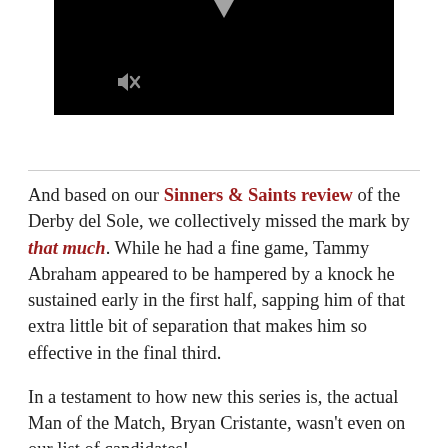[Figure (screenshot): Black video player thumbnail with a muted speaker icon in the lower-left area]
And based on our Sinners & Saints review of the Derby del Sole, we collectively missed the mark by that much. While he had a fine game, Tammy Abraham appeared to be hampered by a knock he sustained early in the first half, sapping him of that extra little bit of separation that makes him so effective in the final third.

In a testament to how new this series is, the actual Man of the Match, Bryan Cristante, wasn't even on our list of candidates!